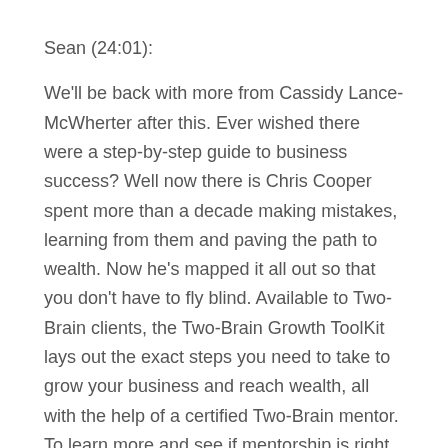Sean (24:01):
We'll be back with more from Cassidy Lance-McWherter after this. Ever wished there were a step-by-step guide to business success? Well now there is Chris Cooper spent more than a decade making mistakes, learning from them and paving the path to wealth. Now he's mapped it all out so that you don't have to fly blind. Available to Two-Brain clients, the Two-Brain Growth ToolKit lays out the exact steps you need to take to grow your business and reach wealth, all with the help of a certified Two-Brain mentor. To learn more and see if mentorship is right for you, book a free call at twobrainbusiness.com. Now more with Cassidy Lance-McWherter. What did you think about the IVF process before you even set foot into a doctor's